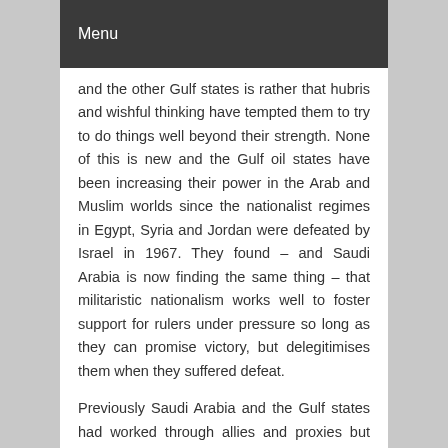Menu
and the other Gulf states is rather that hubris and wishful thinking have tempted them to try to do things well beyond their strength. None of this is new and the Gulf oil states have been increasing their power in the Arab and Muslim worlds since the nationalist regimes in Egypt, Syria and Jordan were defeated by Israel in 1967. They found – and Saudi Arabia is now finding the same thing – that militaristic nationalism works well to foster support for rulers under pressure so long as they can promise victory, but delegitimises them when they suffered defeat.
Previously Saudi Arabia and the Gulf states had worked through allies and proxies but this restraint ended with the popular uprisings of 2011. Qatar and later Saudi Arabia shifted